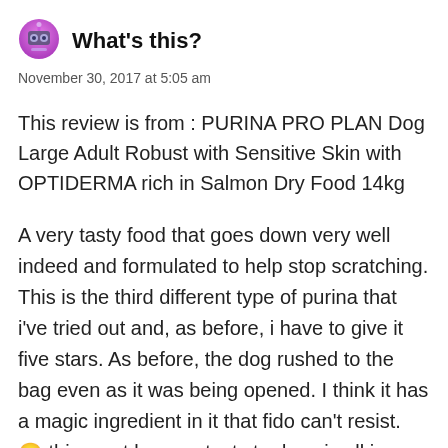[Figure (illustration): Purple/pink robot face emoji avatar icon]
What's this?
November 30, 2017 at 5:05 am
This review is from : PURINA PRO PLAN Dog Large Adult Robust with Sensitive Skin with OPTIDERMA rich in Salmon Dry Food 14kg
A very tasty food that goes down very well indeed and formulated to help stop scratching. This is the third different type of purina that i've tried out and, as before, i have to give it five stars. As before, the dog rushed to the bag even as it was being opened. I think it has a magic ingredient in it that fido can't resist. 🙂 this must be very tasty to dogs is all i can say. The bag is large and provides